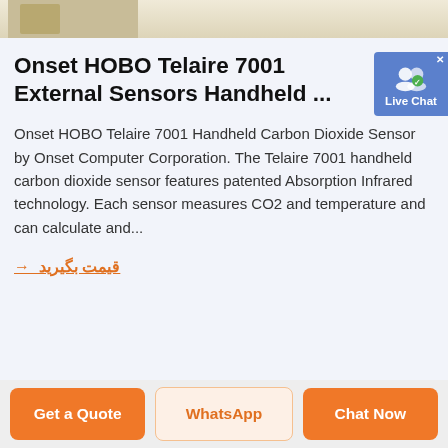[Figure (photo): Top strip showing partial product image with beige/tan background]
Onset HOBO Telaire 7001 External Sensors Handheld ...
Onset HOBO Telaire 7001 Handheld Carbon Dioxide Sensor by Onset Computer Corporation. The Telaire 7001 handheld carbon dioxide sensor features patented Absorption Infrared technology. Each sensor measures CO2 and temperature and can calculate and...
قیمت بگیرید →
Get a Quote | WhatsApp | Chat Now